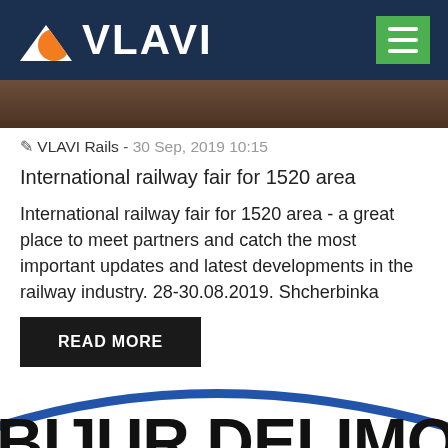VLAVI
[Figure (photo): Partial article image strip showing a dark/brown scene, partially visible at top of article]
✏ VLAVI Rails - 30 Sep, 2019 10:15
International railway fair for 1520 area
International railway fair for 1520 area - a great place to meet partners and catch the most important updates and latest developments in the railway industry. 28-30.08.2019. Shcherbinka
READ MORE
[Figure (logo): Bijur Delimon International logo with blue arc and large bold black text]